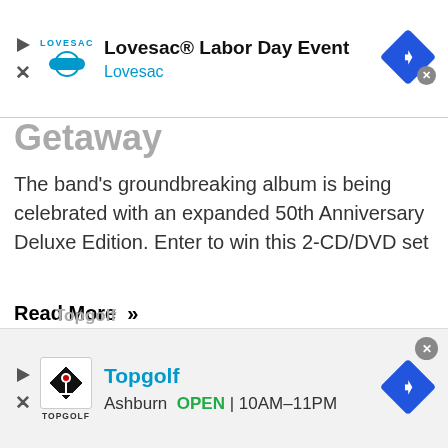[Figure (screenshot): Top banner advertisement for Lovesac Labor Day Event, showing Lovesac logo, play button, close button, a diamond-shaped navigation arrow, with text 'Lovesac® Labor Day Event' and 'Lovesac']
Getaway (partially visible, cut off)
The band's groundbreaking album is being celebrated with an expanded 50th Anniversary Deluxe Edition. Enter to win this 2-CD/DVD set
Read More »
[Figure (photo): Concert photo showing a performer with dramatic stage lighting, multiple bright beams of light in warm orange/amber tones, dark purple/red background]
[Figure (screenshot): Bottom banner advertisement for Topgolf showing Topgolf logo, play button, close button, diamond-shaped navigation arrow, with text 'Topgolf', 'Ashburn', 'OPEN', '10AM–11PM']